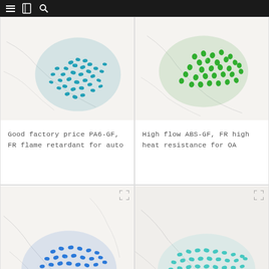≡  [book]  🔍
[Figure (photo): Teal/turquoise plastic granules pellets piled on white marble surface]
Good factory price PA6-GF, FR flame retardant for auto
[Figure (photo): Green plastic granules pellets piled on white marble surface]
High flow ABS-GF, FR high heat resistance for OA
[Figure (photo): Blue plastic granules pellets piled on white marble surface]
[Figure (photo): Light teal/cyan plastic granules pellets scattered on white marble surface]